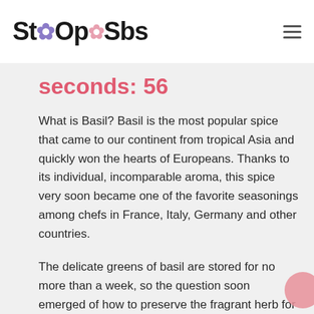StOpSbs
seconds: 56
What is Basil? Basil is the most popular spice that came to our continent from tropical Asia and quickly won the hearts of Europeans. Thanks to its individual, incomparable aroma, this spice very soon became one of the favorite seasonings among chefs in France, Italy, Germany and other countries.
The delicate greens of basil are stored for no more than a week, so the question soon emerged of how to preserve the fragrant herb for a long time in order to have it always at hand. This is how dried